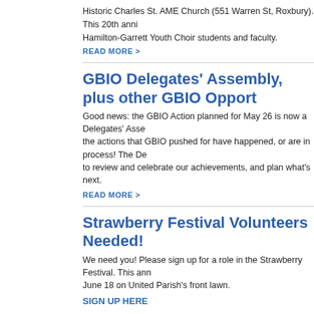Historic Charles St. AME Church (551 Warren St, Roxbury). This 20th anniversary Hamilton-Garrett Youth Choir students and faculty.
READ MORE >
GBIO Delegates' Assembly, plus other GBIO Opport
Good news: the GBIO Action planned for May 26 is now a Delegates' Assembly the actions that GBIO pushed for have happened, or are in process! The De to review and celebrate our achievements, and plan what's next.
READ MORE >
Strawberry Festival Volunteers Needed!
We need you! Please sign up for a role in the Strawberry Festival. This ann June 18 on United Parish's front lawn.
SIGN UP HERE
READ MORE >
Save the Date: Film Screening and Discussion for H Day
On Sunday, June 5 at 12:30pm in the Parlor, join us for a film screening and Clips, which chronicles a middle-school class in the rural, blue-collar Tenne